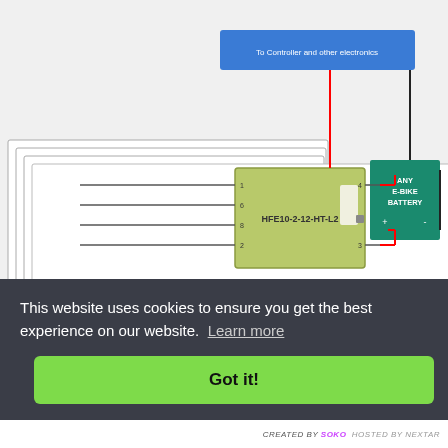[Figure (schematic): E-bike latching relay wiring schematic showing HFE10-2-12-HT-L2 miniature high power latching relay 50A connected to any e-bike battery, three BT169 transistors with resistors labeled 1K, 7, 2, 4, a Buck converter (30V to 12V), and connections to controller and other electronics. Red and black wires indicate positive and negative connections.]
This website uses cookies to ensure you get the best experience on our website. Learn more
Got it!
CREATED BY SOKO HOSTED BY NEXTAR